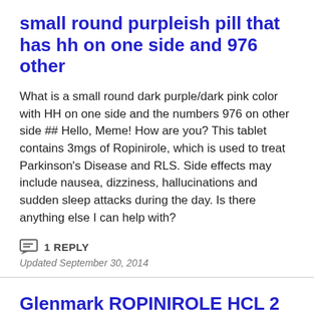small round purpleish pill that has hh on one side and 976 other
What is a small round dark purple/dark pink color with HH on one side and the numbers 976 on other side ## Hello, Meme! How are you? This tablet contains 3mgs of Ropinirole, which is used to treat Parkinson's Disease and RLS. Side effects may include nausea, dizziness, hallucinations and sudden sleep attacks during the day. Is there anything else I can help with?
1 REPLY
Updated September 30, 2014
Glenmark ROPINIROLE HCL 2 MG 6 TIMES A DAY